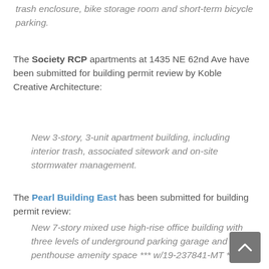trash enclosure, bike storage room and short-term bicycle parking.
The Society RCP apartments at 1435 NE 62nd Ave have been submitted for building permit review by Koble Creative Architecture:
New 3-story, 3-unit apartment building, including interior trash, associated sitework and on-site stormwater management.
The Pearl Building East has been submitted for building permit review:
New 7-story mixed use high-rise office building with three levels of underground parking garage and a penthouse amenity space *** w/19-237841-MT ***